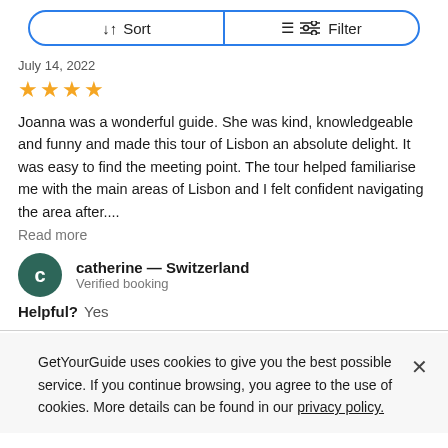[Figure (other): Sort and Filter buttons row with blue border]
July 14, 2022
[Figure (other): 4 gold star rating]
Joanna was a wonderful guide. She was kind, knowledgeable and funny and made this tour of Lisbon an absolute delight. It was easy to find the meeting point. The tour helped familiarise me with the main areas of Lisbon and I felt confident navigating the area after....
Read more
catherine — Switzerland
Verified booking
Helpful?  Yes
GetYourGuide uses cookies to give you the best possible service. If you continue browsing, you agree to the use of cookies. More details can be found in our privacy policy.